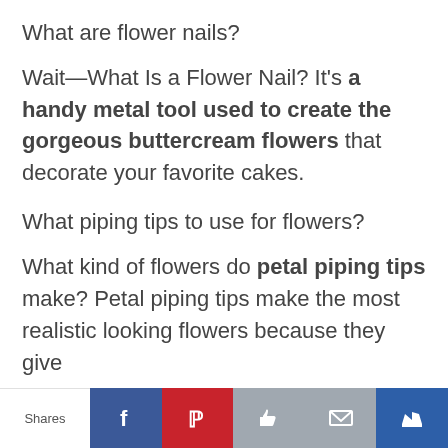What are flower nails?
Wait—What Is a Flower Nail? It's a handy metal tool used to create the gorgeous buttercream flowers that decorate your favorite cakes.
What piping tips to use for flowers?
What kind of flowers do petal piping tips make? Petal piping tips make the most realistic looking flowers because they give
Shares | Facebook | Pinterest | Like | Email | Crown